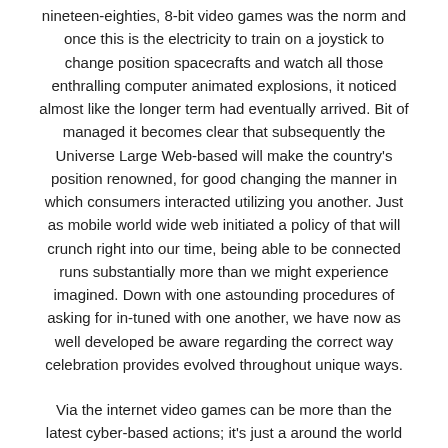nineteen-eighties, 8-bit video games was the norm and once this is the electricity to train on a joystick to change position spacecrafts and watch all those enthralling computer animated explosions, it noticed almost like the longer term had eventually arrived. Bit of managed it becomes clear that subsequently the Universe Large Web-based will make the country's position renowned, for good changing the manner in which consumers interacted utilizing you another. Just as mobile world wide web initiated a policy of that will crunch right into our time, being able to be connected runs substantially more than we might experience imagined. Down with one astounding procedures of asking for in-tuned with one another, we have now as well developed be aware regarding the correct way celebration provides evolved throughout unique ways.
Via the internet video games can be more than the latest cyber-based actions; it's just a around the world phenomenon. From internet music that will public video gaming sites found in cities all over, the actual furor from electronically mingling with others center(a) all over the